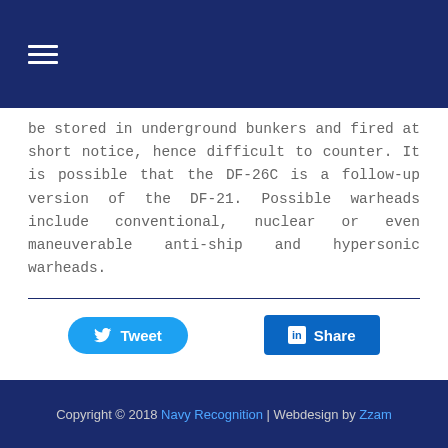≡
be stored in underground bunkers and fired at short notice, hence difficult to counter. It is possible that the DF-26C is a follow-up version of the DF-21. Possible warheads include conventional, nuclear or even maneuverable anti-ship and hypersonic warheads.
[Figure (infographic): Tweet button and LinkedIn Share button]
Copyright © 2018 Navy Recognition | Webdesign by Zzam